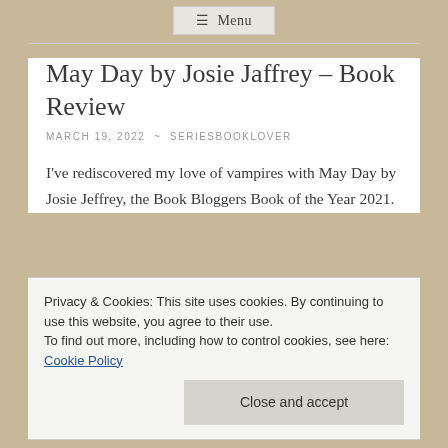≡ Menu
May Day by Josie Jaffrey – Book Review
MARCH 19, 2022  ~  SERIESBOOKLOVER
I've rediscovered my love of vampires with May Day by Josie Jeffrey, the Book Bloggers Book of the Year 2021.
Privacy & Cookies: This site uses cookies. By continuing to use this website, you agree to their use. To find out more, including how to control cookies, see here: Cookie Policy
Close and accept